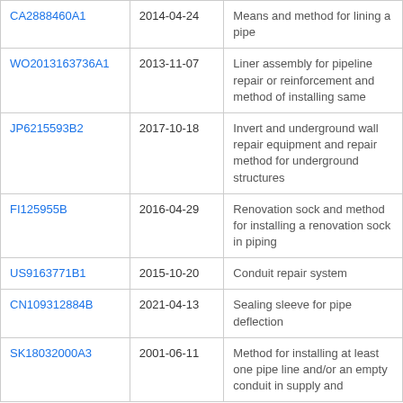| CA2888460A1 | 2014-04-24 | Means and method for lining a pipe |
| WO2013163736A1 | 2013-11-07 | Liner assembly for pipeline repair or reinforcement and method of installing same |
| JP6215593B2 | 2017-10-18 | Invert and underground wall repair equipment and repair method for underground structures |
| FI125955B | 2016-04-29 | Renovation sock and method for installing a renovation sock in piping |
| US9163771B1 | 2015-10-20 | Conduit repair system |
| CN109312884B | 2021-04-13 | Sealing sleeve for pipe deflection |
| SK18032000A3 | 2001-06-11 | Method for installing at least one pipe line and/or an empty conduit in supply and |